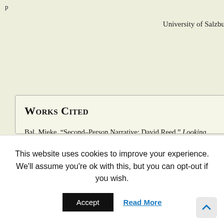University of Salzbu...
Works Cited
Bal, Mieke. “Second–Person Narrative: David Reed.” Looking In: The Art of Viewing. Amsterdam: G&B Arts, 2001. 213–38.
Bank, Melissa. The Girls’ Guide to Hunting and Fishing. New York: Penguin, 1999.
Banks, Russell. The Book of Jamaica. Boston: Houghton Mifflin, 1980.
Barth... (partial, cut off)
This website uses cookies to improve your experience. We’ll assume you’re ok with this, but you can opt-out if you wish.
Accept
Read More